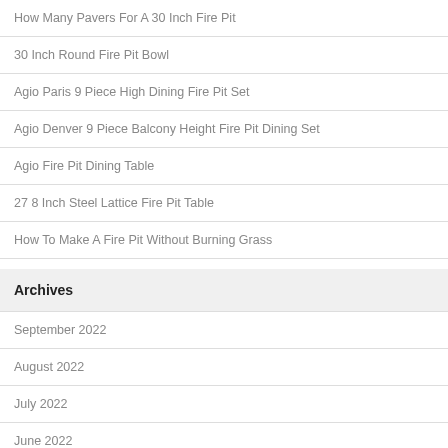How Many Pavers For A 30 Inch Fire Pit
30 Inch Round Fire Pit Bowl
Agio Paris 9 Piece High Dining Fire Pit Set
Agio Denver 9 Piece Balcony Height Fire Pit Dining Set
Agio Fire Pit Dining Table
27 8 Inch Steel Lattice Fire Pit Table
How To Make A Fire Pit Without Burning Grass
Archives
September 2022
August 2022
July 2022
June 2022
May 2022